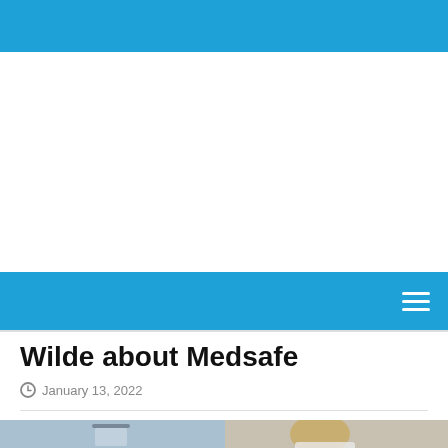Wilde about Medsafe
January 13, 2022
[Figure (photo): Left: Close-up of a vaccine/medicine vial with metal cap against a blue background. Right: Blond person in white lab coat, seen from behind/side, against a blurred background.]